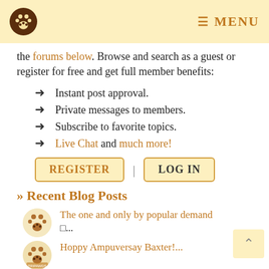MENU
the forums below. Browse and search as a guest or register for free and get full member benefits:
Instant post approval.
Private messages to members.
Subscribe to favorite topics.
Live Chat and much more!
REGISTER | LOG IN
» Recent Blog Posts
The one and only by popular demand □...
Hoppy Ampuversay Baxter!...